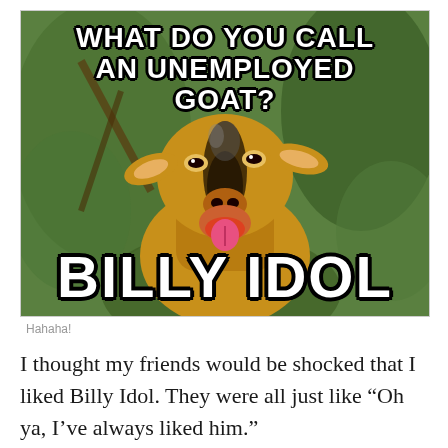[Figure (photo): A meme featuring a close-up photo of a goat with its mouth open and tongue sticking out, surrounded by green trees. Top text reads 'WHAT DO YOU CALL AN UNEMPLOYED GOAT?' and bottom text reads 'BILLY IDOL' in large Impact font with black outline.]
Hahaha!
I thought my friends would be shocked that I liked Billy Idol. They were all just like “Oh ya, I’ve always liked him.”